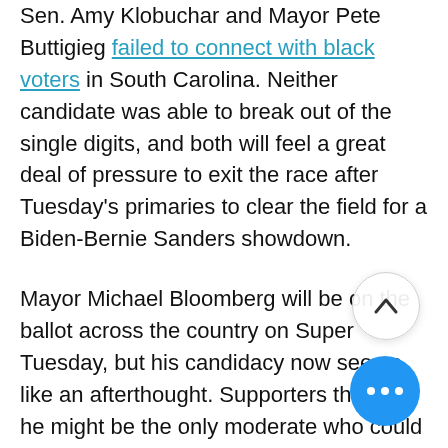Sen. Amy Klobuchar and Mayor Pete Buttigieg failed to connect with black voters in South Carolina. Neither candidate was able to break out of the single digits, and both will feel a great deal of pressure to exit the race after Tuesday's primaries to clear the field for a Biden-Bernie Sanders showdown.
Mayor Michael Bloomberg will be on the ballot across the country on Super Tuesday, but his candidacy now seems like an afterthought. Supporters thought he might be the only moderate who could challenge Sanders for the nomination, but with Biden's revival, Bloomberg's support will quickly fade. He has far too much political bagg... and his debate performances have